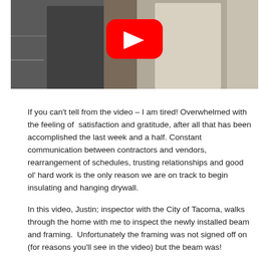[Figure (photo): Video thumbnail showing two people standing in a partially constructed interior space. A YouTube play button overlay is visible in the upper center of the image.]
If you can't tell from the video – I am tired! Overwhelmed with the feeling of satisfaction and gratitude, after all that has been accomplished the last week and a half. Constant communication between contractors and vendors, rearrangement of schedules, trusting relationships and good ol' hard work is the only reason we are on track to begin insulating and hanging drywall.
In this video, Justin; inspector with the City of Tacoma, walks through the home with me to inspect the newly installed beam and framing.  Unfortunately the framing was not signed off on (for reasons you'll see in the video) but the beam was!